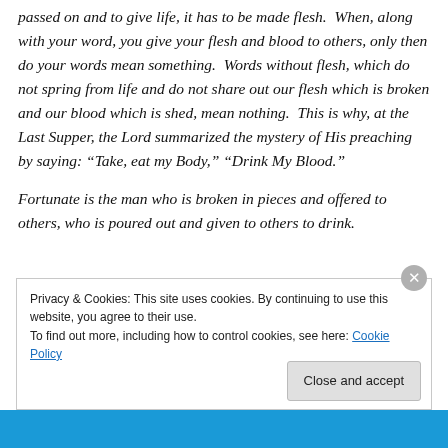passed on and to give life, it has to be made flesh.  When, along with your word, you give your flesh and blood to others, only then do your words mean something.  Words without flesh, which do not spring from life and do not share out our flesh which is broken and our blood which is shed, mean nothing.  This is why, at the Last Supper, the Lord summarized the mystery of His preaching by saying: “Take, eat my Body,” “Drink My Blood.”
Fortunate is the man who is broken in pieces and offered to others, who is poured out and given to others to drink.
[partial line cut off]
Privacy & Cookies: This site uses cookies. By continuing to use this website, you agree to their use. To find out more, including how to control cookies, see here: Cookie Policy | Close and accept